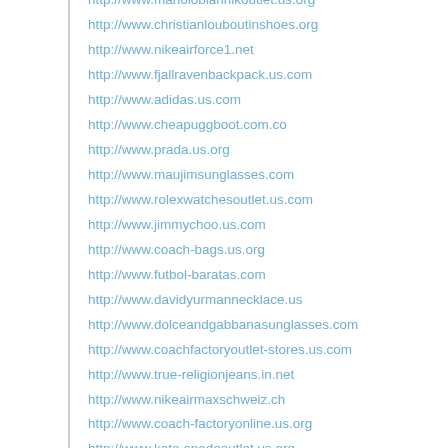http://www.manoloblahnikoutlet.us.org
http://www.christianlouboutinshoes.org
http://www.nikeairforce1.net
http://www.fjallravenbackpack.us.com
http://www.adidas.us.com
http://www.cheapuggboot.com.co
http://www.prada.us.org
http://www.maujimsunglasses.com
http://www.rolexwatchesoutlet.us.com
http://www.jimmychoo.us.com
http://www.coach-bags.us.org
http://www.futbol-baratas.com
http://www.davidyurmannecklace.us
http://www.dolceandgabbanasunglasses.com
http://www.coachfactoryoutlet-stores.us.com
http://www.true-religionjeans.in.net
http://www.nikeairmaxschweiz.ch
http://www.coach-factoryonline.us.org
http://www.kate-spadeoutlet.us.org
http://www.nike-shoes.us.com
http://www.uggs--outlet.net